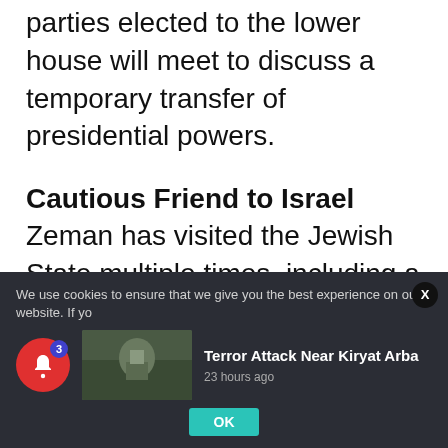parties elected to the lower house will meet to discuss a temporary transfer of presidential powers.
Cautious Friend to Israel
Zeman has visited the Jewish State multiple times, including a visit to the Dead Sea in 2013.
During a four-day visit to Israel in November 2018, Zeman told then-Israeli President Reuven Rivlin that he did not believe there can be an
We use cookies to ensure that we give you the best experience on our website. If yo
[Figure (photo): News thumbnail showing military/soldier scene for article about Terror Attack Near Kiryat Arba]
Terror Attack Near Kiryat Arba
23 hours ago